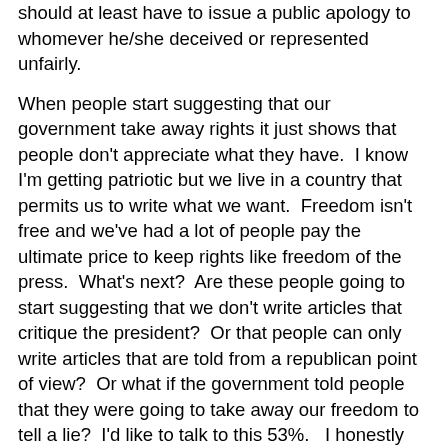should at least have to issue a public apology to whomever he/she deceived or represented unfairly.
When people start suggesting that our government take away rights it just shows that people don't appreciate what they have. I know I'm getting patriotic but we live in a country that permits us to write what we want. Freedom isn't free and we've had a lot of people pay the ultimate price to keep rights like freedom of the press. What's next? Are these people going to start suggesting that we don't write articles that critique the president? Or that people can only write articles that are told from a republican point of view? Or what if the government told people that they were going to take away our freedom to tell a lie? I'd like to talk to this 53%. I honestly don't think these people thought this question over when they answered.
Is my anger justified? Did anyone else get this feeling when they read this statistic?
Derek discusses freedom on his page as well. Check it out!
Home
Dr. Jerz, I have a few questions about